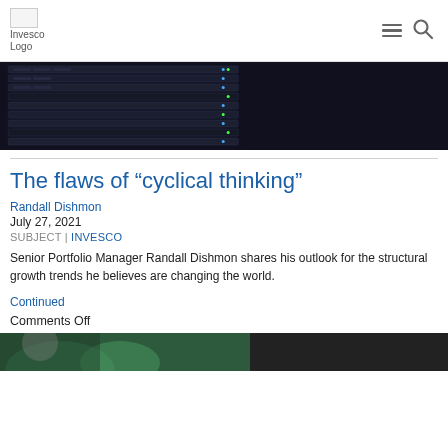Invesco Logo
[Figure (photo): Server rack room — dark blue/black data center servers stacked in racks]
The flaws of “cyclical thinking”
Randall Dishmon
July 27, 2021
SUBJECT | INVESCO
Senior Portfolio Manager Randall Dishmon shares his outlook for the structural growth trends he believes are changing the world.
Continued
Comments Off
[Figure (photo): Partial photo of a person at bottom of page, green/plant background]